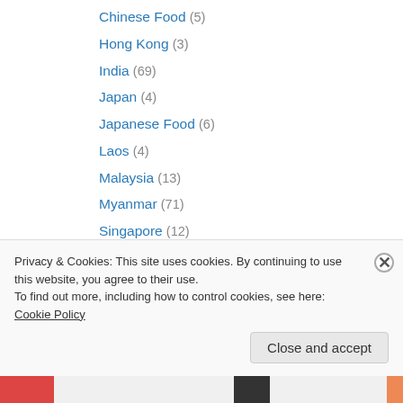Chinese Food (5)
Hong Kong (3)
India (69)
Japan (4)
Japanese Food (6)
Laos (4)
Malaysia (13)
Myanmar (71)
Singapore (12)
Thailand (39)
Thai Food (11)
Vietnam (69)
Vietnamese Food (20)
Europe (474)
Privacy & Cookies: This site uses cookies. By continuing to use this website, you agree to their use.
To find out more, including how to control cookies, see here: Cookie Policy